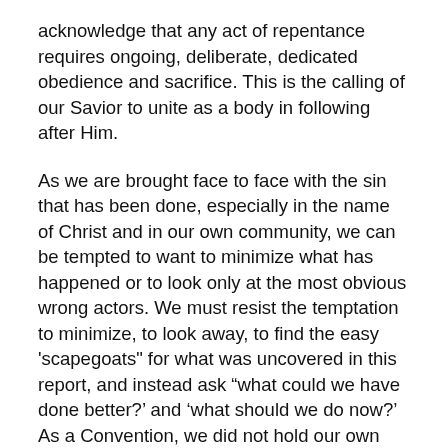acknowledge that any act of repentance requires ongoing, deliberate, dedicated obedience and sacrifice. This is the calling of our Savior to unite as a body in following after Him.
As we are brought face to face with the sin that has been done, especially in the name of Christ and in our own community, we can be tempted to want to minimize what has happened or to look only at the most obvious wrong actors. We must resist the temptation to minimize, to look away, to find the easy 'scapegoats" for what was uncovered in this report, and instead ask “what could we have done better?' and 'what should we do now?' As a Convention, we did not hold our own leaders accountable, and we did not listen to the warnings.  Leaders had access to expertise but chose not to seek assistance, and in some cases,